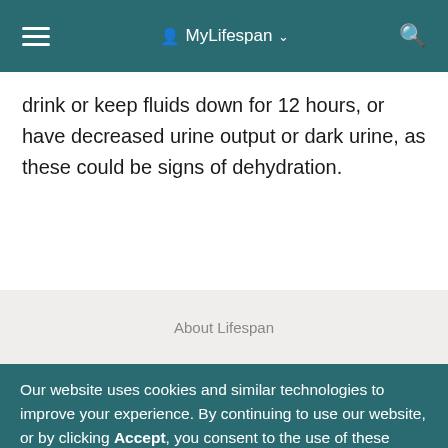MyLifespan
drink or keep fluids down for 12 hours, or have decreased urine output or dark urine, as these could be signs of dehydration.
About Lifespan
Our website uses cookies and similar technologies to improve your experience. By continuing to use our website, or by clicking Accept, you consent to the use of these technologies.